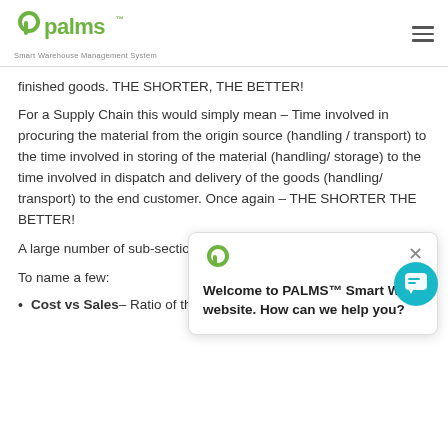palms™ Smart Warehouse Management System
finished goods. THE SHORTER, THE BETTER!
For a Supply Chain this would simply mean – Time involved in procuring the material from the origin source (handling / transport) to the time involved in storing of the material (handling/ storage) to the time involved in dispatch and delivery of the goods (handling/ transport) to the end customer. Once again – THE SHORTER THE BETTER!
A large number of sub-sections contribute to the Cash vs Cash Cycle KPI.
To name a few:
[Figure (screenshot): Chat popup from PALMS WMS website saying 'Welcome to PALMS™ Smart WMS website. How can we help you?']
Cost vs Sales – Ratio of the Total Cost involved in Logistics